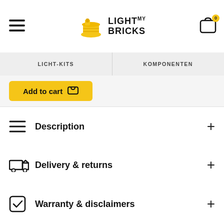Light My Bricks
LICHT-KITS | KOMPONENTEN
Add to cart
Description
Delivery & returns
Warranty & disclaimers
Our difference
Customer reviews